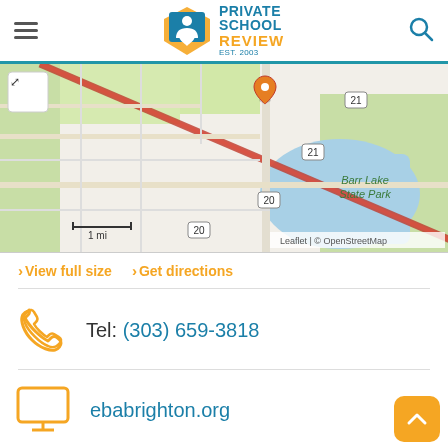Private School Review
[Figure (map): OpenStreetMap showing location near Barr Lake State Park with a location pin, road markings including routes 20 and 21, and 1 mi scale. Attribution: Leaflet | © OpenStreetMap]
View full size   Get directions
Tel: (303) 659-3818
ebabrighton.org